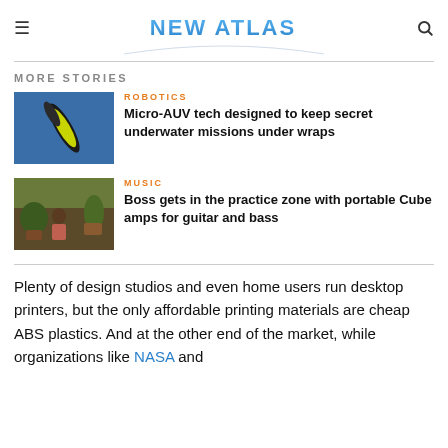NEW ATLAS
MORE STORIES
[Figure (photo): Micro-AUV torpedo-shaped underwater drone with yellow and black coloring propped against a blue wall]
ROBOTICS
Micro-AUV tech designed to keep secret underwater missions under wraps
[Figure (photo): Person sitting on outdoor steps with guitar surrounded by plants and pots]
MUSIC
Boss gets in the practice zone with portable Cube amps for guitar and bass
Plenty of design studios and even home users run desktop printers, but the only affordable printing materials are cheap ABS plastics. And at the other end of the market, while organizations like NASA and